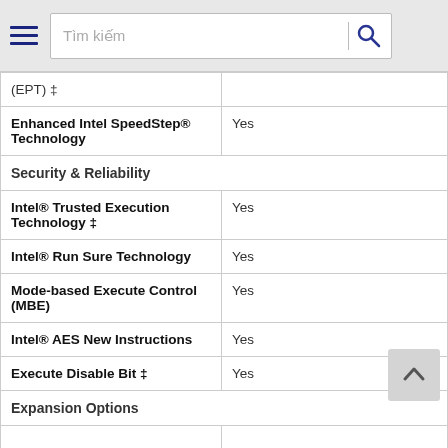Tìm kiếm
| Feature | Value |
| --- | --- |
| (EPT) ‡ |  |
| Enhanced Intel SpeedStep® Technology | Yes |
| Security & Reliability |  |
| Intel® Trusted Execution Technology ‡ | Yes |
| Intel® Run Sure Technology | Yes |
| Mode-based Execute Control (MBE) | Yes |
| Intel® AES New Instructions | Yes |
| Execute Disable Bit ‡ | Yes |
| Expansion Options |  |